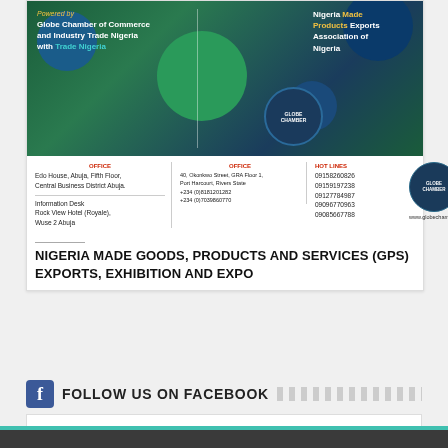[Figure (infographic): Globe Chamber of Commerce and Industry Trade Nigeria with Trade Nigeria / Nigeria Made Products Exports Association of Nigeria banner with green and blue circular design elements and Globe Chamber logo]
OFFICE
Edo House, Abuja, Fifth Floor, Central Business District Abuja.

Information Desk
Rock View Hotel (Royale),
Wuse 2 Abuja
OFFICE
40, Okonkwo Street, GRA Floor 1, Port Harcourt, Rivers State
+234 (0)8181201282
+234 (0)7039860770
HOT LINES
09158260826
09159197238
09127784987
09096770963
09085667788
www.globechambers.org
NIGERIA MADE GOODS, PRODUCTS AND SERVICES (GPS) EXPORTS, EXHIBITION AND EXPO
FOLLOW US ON FACEBOOK